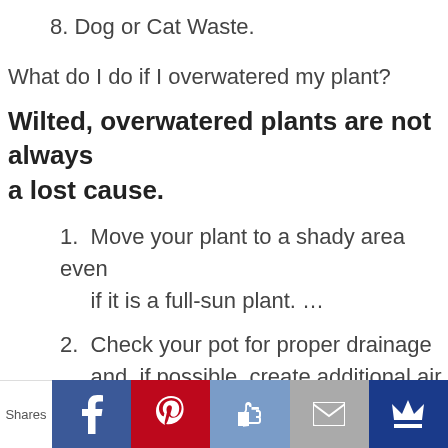8. Dog or Cat Waste.
What do I do if I overwatered my plant?
Wilted, overwatered plants are not always a lost cause.
1. Move your plant to a shady area even if it is a full-sun plant. …
2. Check your pot for proper drainage and, if possible, create additional air space around the roots. …
Shares | Facebook | Pinterest | Like | Mail | Crown